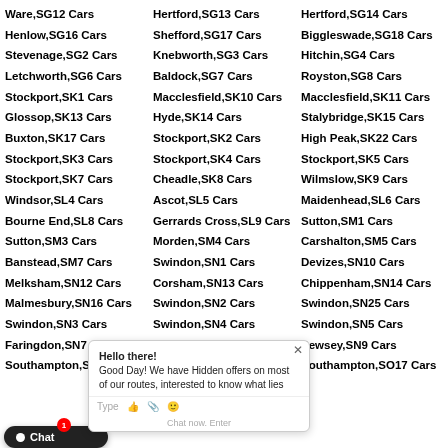Ware,SG12 Cars
Hertford,SG13 Cars
Hertford,SG14 Cars
Henlow,SG16 Cars
Shefford,SG17 Cars
Biggleswade,SG18 Cars
Stevenage,SG2 Cars
Knebworth,SG3 Cars
Hitchin,SG4 Cars
Letchworth,SG6 Cars
Baldock,SG7 Cars
Royston,SG8 Cars
Stockport,SK1 Cars
Macclesfield,SK10 Cars
Macclesfield,SK11 Cars
Glossop,SK13 Cars
Hyde,SK14 Cars
Stalybridge,SK15 Cars
Buxton,SK17 Cars
Stockport,SK2 Cars
High Peak,SK22 Cars
Stockport,SK3 Cars
Stockport,SK4 Cars
Stockport,SK5 Cars
Stockport,SK7 Cars
Cheadle,SK8 Cars
Wilmslow,SK9 Cars
Windsor,SL4 Cars
Ascot,SL5 Cars
Maidenhead,SL6 Cars
Bourne End,SL8 Cars
Gerrards Cross,SL9 Cars
Sutton,SM1 Cars
Sutton,SM3 Cars
Morden,SM4 Cars
Carshalton,SM5 Cars
Banstead,SM7 Cars
Swindon,SN1 Cars
Devizes,SN10 Cars
Melksham,SN12 Cars
Corsham,SN13 Cars
Chippenham,SN14 Cars
Malmesbury,SN16 Cars
Swindon,SN2 Cars
Swindon,SN25 Cars
Swindon,SN3 Cars
Swindon,SN4 Cars
Swindon,SN5 Cars
Faringdon,SN7 Cars
Marlborough,SN8 Cars
Pewsey,SN9 Cars
Southampton,SO15
Southampton,SO16
Southampton,SO17 Cars